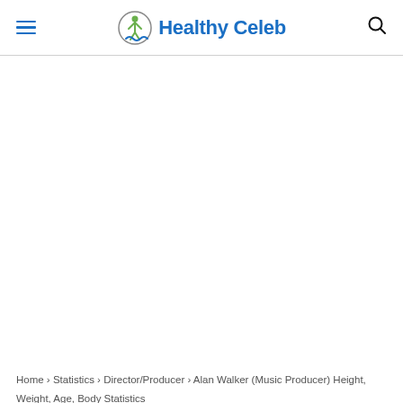Healthy Celeb
[Figure (other): Large blank white advertisement/content area below header]
Home › Statistics › Director/Producer › Alan Walker (Music Producer) Height, Weight, Age, Body Statistics